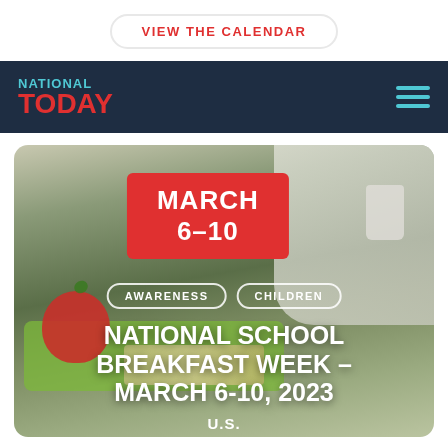VIEW THE CALENDAR
NATIONAL TODAY
[Figure (photo): Hero image showing a school cafeteria tray with an apple and food items, overlaid with date badge MARCH 6-10, category tags AWARENESS and CHILDREN, and the title NATIONAL SCHOOL BREAKFAST WEEK – MARCH 6-10, 2023, U.S.]
NATIONAL SCHOOL BREAKFAST WEEK – MARCH 6-10, 2023